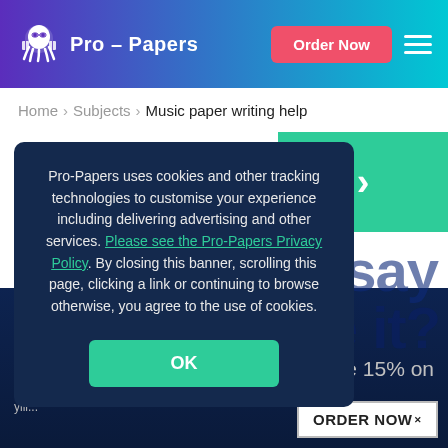Pro-Papers | Order Now
Home › Subjects › Music paper writing help
[Figure (screenshot): Cookie consent modal overlay on Pro-Papers website. Dark navy background modal with text: 'Pro-Papers uses cookies and other tracking technologies to customise your experience including delivering advertising and other services. Please see the Pro-Papers Privacy Policy. By closing this banner, scrolling this page, clicking a link or continuing to browse otherwise, you agree to the use of cookies.' Green OK button at bottom.]
Pro-Papers uses cookies and other tracking technologies to customise your experience including delivering advertising and other services. Please see the Pro-Papers Privacy Policy. By closing this banner, scrolling this page, clicking a link or continuing to browse otherwise, you agree to the use of cookies.
OK